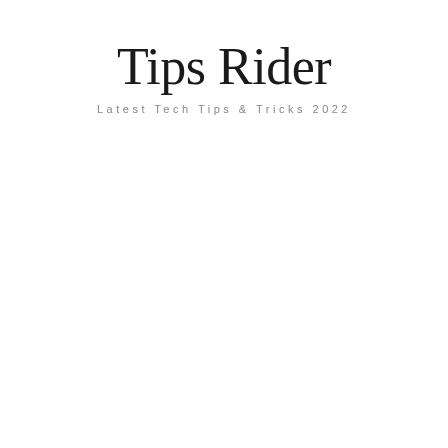Tips Rider
Latest Tech Tips & Tricks 2022